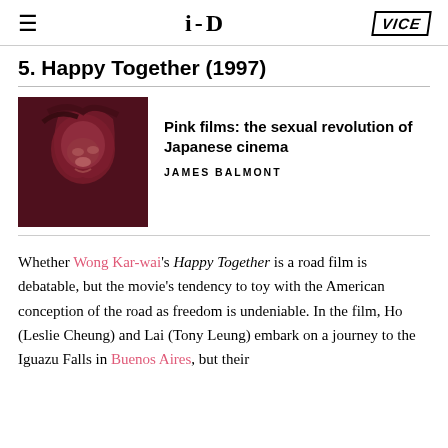≡  i-D  VICE
5. Happy Together (1997)
[Figure (photo): Film still showing a woman with dark flowing hair and dramatic expression, reddish-pink toned lighting]
Pink films: the sexual revolution of Japanese cinema
JAMES BALMONT
Whether Wong Kar-wai's Happy Together is a road film is debatable, but the movie's tendency to toy with the American conception of the road as freedom is undeniable. In the film, Ho (Leslie Cheung) and Lai (Tony Leung) embark on a journey to the Iguazu Falls in Buenos Aires, but their